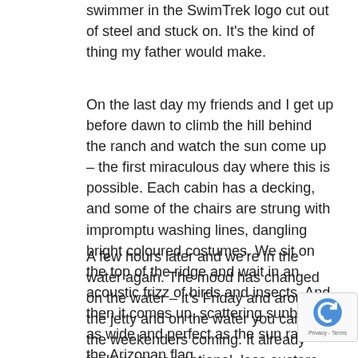swimmer in the SwimTrek logo cut out of steel and stuck on. It's the kind of thing my father would make.
On the last day my friends and I get up before dawn to climb the hill behind the ranch and watch the sun come up – the first miraculous day where this is possible. Each cabin has a decking, and some of the chairs are strung with impromptu washing lines, dangling bright coloured costumes. We sit on the top of the ridge and wait in an acoustic frizz of birds and insects. And then it comes up, scattering sunbeams as wide and perfect as the sun rays on the Arizonan flag.
A few hours later and we're in the water again. The mood has changed on the water – it's Friday and around the jetty and on the water you can feel the weekenders coming. It already feels more recreational, less austere. We're back in Saguaro Lake, the most accessible of the three, with the most recreation on it. For the first time we do not have the water to ourselves. Underwater I can